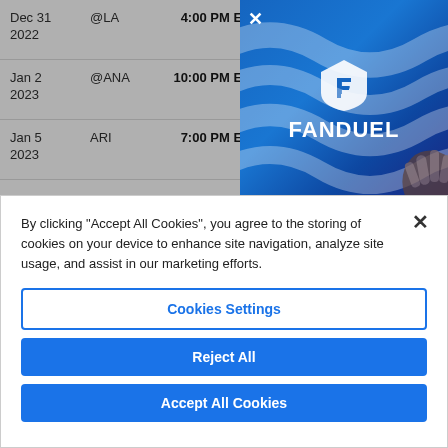[Figure (screenshot): Sports schedule table showing Dec 31 2022 @LA 4:00 PM ET, Jan 2 2023 @ANA 10:00 PM ET, Jan 5 2023 ARI 7:00 PM ET, overlaid with FanDuel advertisement banner in blue with logo]
By clicking "Accept All Cookies", you agree to the storing of cookies on your device to enhance site navigation, analyze site usage, and assist in our marketing efforts.
Cookies Settings
Reject All
Accept All Cookies